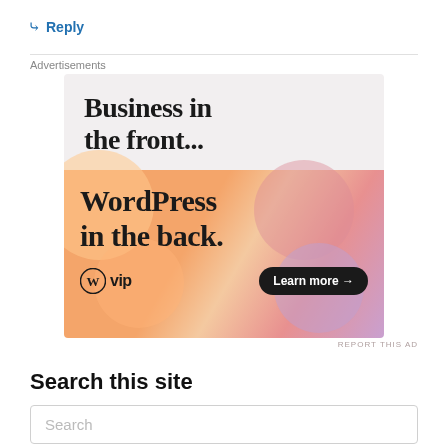↳ Reply
[Figure (illustration): WordPress VIP advertisement. Top half: light gray background with bold serif text 'Business in the front...'. Bottom half: colorful gradient background (orange, peach, pink, lavender) with bold serif text 'WordPress in the back.' and footer row showing WordPress W logo with 'vip' text and a dark rounded 'Learn more →' button.]
REPORT THIS AD
Search this site
Search